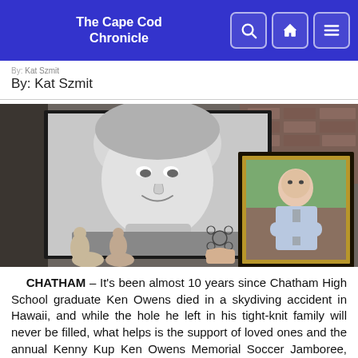The Cape Cod Chronicle
By: Kat Szmit
[Figure (photo): Two framed photographs displayed together: a large black-and-white portrait of a young man with light hair smiling, and a smaller color portrait of a man in a light blue shirt with crossed arms. Small figurines visible at the bottom.]
CHATHAM – It's been almost 10 years since Chatham High School graduate Ken Owens died in a skydiving accident in Hawaii, and while the hole he left in his tight-knit family will never be filled, what helps is the support of loved ones and the annual Kenny Kup Ken Owens Memorial Soccer Jamboree, this year slated for Aug. 18